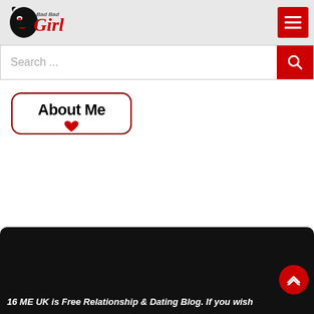Bad Bad Girl
Search ...
About Me
16 ME UK is Free Relationship & Dating Blog. If you wish